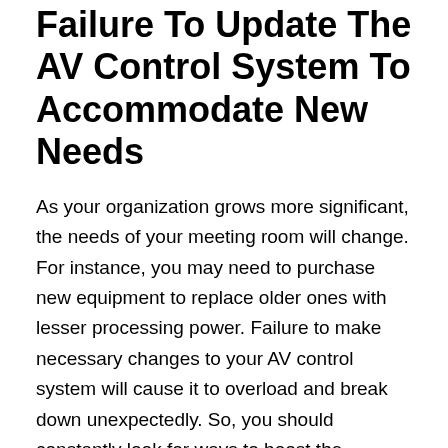Failure To Update The AV Control System To Accommodate New Needs
As your organization grows more significant, the needs of your meeting room will change. For instance, you may need to purchase new equipment to replace older ones with lesser processing power. Failure to make necessary changes to your AV control system will cause it to overload and break down unexpectedly. So, you should constantly look for ways to boost the system's capacity instead.
Using A Custom Interface
Operating your AV control system with a custom interface may seem like a cool feature, but it has